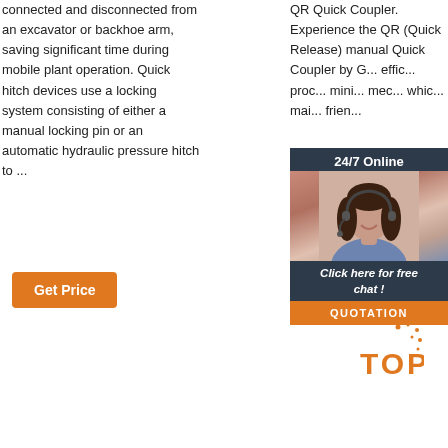connected and disconnected from an excavator or backhoe arm, saving significant time during mobile plant operation. Quick hitch devices use a locking system consisting of either a manual locking pin or an automatic hydraulic pressure hitch to ...
QR Quick Coupler. Experience the QR (Quick Release) manual Quick Coupler by Q... effic... proc... mini... mec... whic... mai... frien...
[Figure (screenshot): Chat widget overlay with dark navy background, showing '24/7 Online' header, photo of a smiling woman with headset (customer service rep), 'Click here for free chat!' call to action text, and orange QUOTATION button]
[Figure (infographic): Orange 'TOP' badge with decorative dots indicating a back-to-top button]
Get Price
Get Price